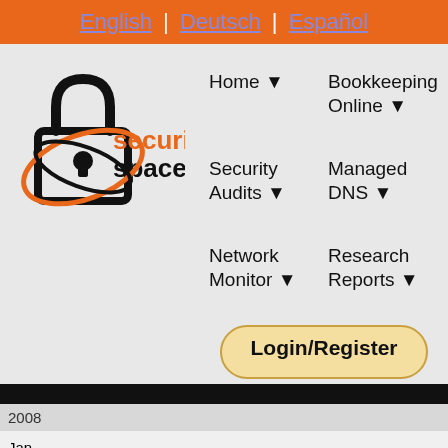English | Deutsch | Español
[Figure (logo): Security Space logo with padlock and orbiting rings, orange and black color scheme]
Home ▼
Bookkeeping Online ▼
Security Audits ▼
Managed DNS ▼
Network Monitor ▼
Research Reports ▼
Login/Register
|  |  |  |  |  |  |  |
| --- | --- | --- | --- | --- | --- | --- |
| 2008 |  |  |  |  |  |  |
| Jan 2008 | 183 | 0.00 | 1.35 | 74 | 0.01 | 8.91 |
| Dec 2007 | 169 | 0.00 | -8.01 | 66 | 0.01 | -12.75 |
| Nov | … | … | … | … | … | … |